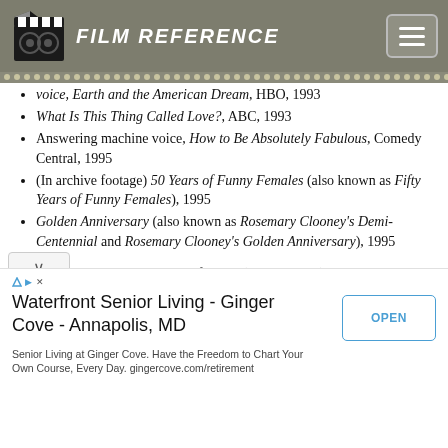FILM REFERENCE
voice, Earth and the American Dream, HBO, 1993
What Is This Thing Called Love?, ABC, 1993
Answering machine voice, How to Be Absolutely Fabulous, Comedy Central, 1995
(In archive footage) 50 Years of Funny Females (also known as Fifty Years of Funny Females), 1995
Golden Anniversary (also known as Rosemary Clooney's Demi-Centennial and Rosemary Clooney's Golden Anniversary), 1995
Hollywood Stars: A Century of Cinema, The Disney Channel, 1995
We Are the World: A 10th Anniversary Tribute, The Disney Channel,1995
Peter Allen: The Boy from Oz (documentary), c. 1995
Waterfront Senior Living - Ginger Cove - Annapolis, MD
Senior Living at Ginger Cove. Have the Freedom to Chart Your Own Course, Every Day. gingercove.com/retirement